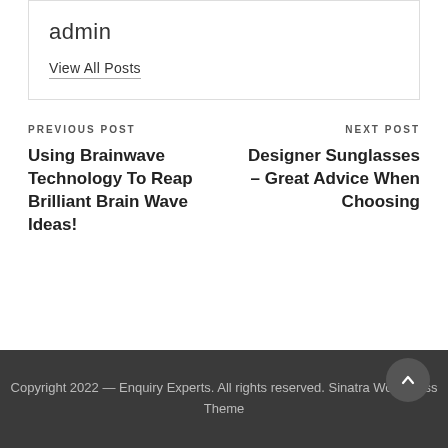admin
View All Posts
PREVIOUS POST
Using Brainwave Technology To Reap Brilliant Brain Wave Ideas!
NEXT POST
Designer Sunglasses – Great Advice When Choosing
Copyright 2022 — Enquiry Experts. All rights reserved. Sinatra WordPress Theme